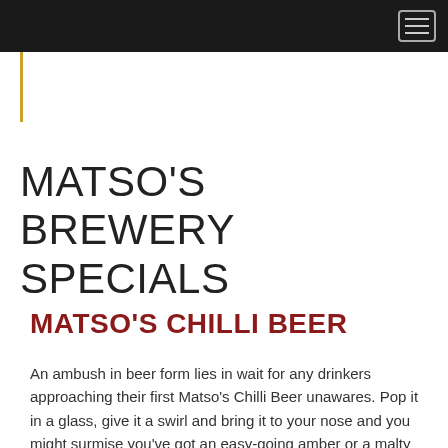MATSO'S BREWERY SPECIALS
MATSO'S CHILLI BEER
An ambush in beer form lies in wait for any drinkers approaching their first Matso's Chilli Beer unawares. Pop it in a glass, give it a swirl and bring it to your nose and you might surmise you've got an easy-going amber or a malty English ale in front of you. Maybe you'll pick up a faint chilli perfume, maybe not. There's no mistaking what you've got in your hands once it hits